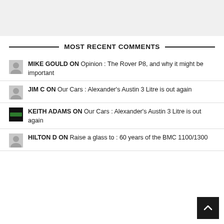[Figure (other): Gray advertisement banner at the top of the page]
MOST RECENT COMMENTS
MIKE GOULD ON Opinion : The Rover P8, and why it might be important
JIM C ON Our Cars : Alexander's Austin 3 Litre is out again
KEITH ADAMS ON Our Cars : Alexander's Austin 3 Litre is out again
HILTON D ON Raise a glass to : 60 years of the BMC 1100/1300